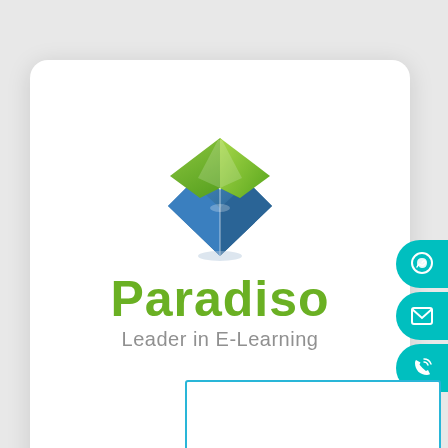[Figure (logo): Paradiso e-learning company logo: 3D diamond-shaped book icon in green and blue, with the text 'Paradiso' in green and 'Leader in E-Learning' in gray below it]